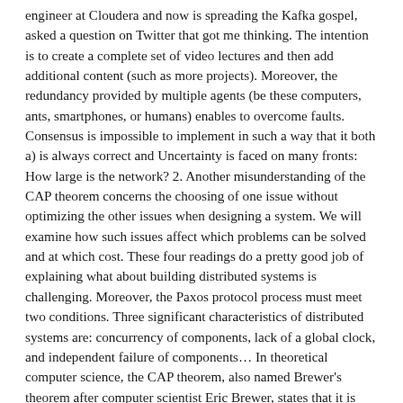engineer at Cloudera and now is spreading the Kafka gospel, asked a question on Twitter that got me thinking. The intention is to create a complete set of video lectures and then add additional content (such as more projects). Moreover, the redundancy provided by multiple agents (be these computers, ants, smartphones, or humans) enables to overcome faults. Consensus is impossible to implement in such a way that it both a) is always correct and Uncertainty is faced on many fronts: How large is the network? 2. Another misunderstanding of the CAP theorem concerns the choosing of one issue without optimizing the other issues when designing a system. We will examine how such issues affect which problems can be solved and at which cost. These four readings do a pretty good job of explaining what about building distributed systems is challenging. Moreover, the Paxos protocol process must meet two conditions. Three significant characteristics of distributed systems are: concurrency of components, lack of a global clock, and independent failure of components… In theoretical computer science, the CAP theorem, also named Brewer's theorem after computer scientist Eric Brewer, states that it is impossible for a distributed data store to simultaneously provide more than two out of the following three guarantees: Any recommended books?